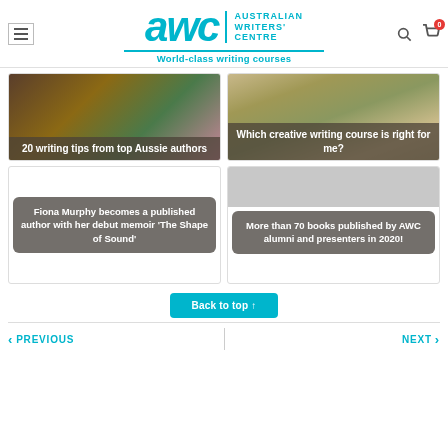[Figure (logo): Australian Writers' Centre logo with 'awc' in teal italic and tagline 'World-class writing courses']
[Figure (photo): Card with coffee and flowers photo with overlay text '20 writing tips from top Aussie authors']
[Figure (photo): Card with misty door/gate photo with overlay text 'Which creative writing course is right for me?']
[Figure (illustration): Card with dark overlay text 'Fiona Murphy becomes a published author with her debut memoir ‘The Shape of Sound’']
[Figure (photo): Card with grey image and overlay text 'More than 70 books published by AWC alumni and presenters in 2020!']
Back to top ↑
PREVIOUS
NEXT